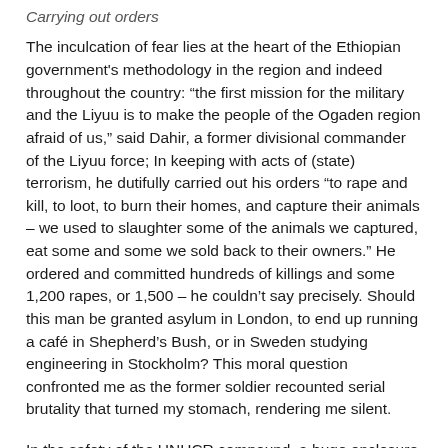Carrying out orders
The inculcation of fear lies at the heart of the Ethiopian government's methodology in the region and indeed throughout the country: “the first mission for the military and the Liyuu is to make the people of the Ogaden region afraid of us,” said Dahir, a former divisional commander of the Liyuu force; In keeping with acts of (state) terrorism, he dutifully carried out his orders “to rape and kill, to loot, to burn their homes, and capture their animals – we used to slaughter some of the animals we captured, eat some and some we sold back to their owners.” He ordered and committed hundreds of killings and some 1,200 rapes, or 1,500 – he couldn’t say precisely. Should this man be granted asylum in London, to end up running a café in Shepherd’s Bush, or in Sweden studying engineering in Stockholm? This moral question confronted me as the former soldier recounted serial brutality that turned my stomach, rendering me silent.
In the safety of the UNHCR compound, a huge enclosure reminiscent of a French campsite, I met 18-year old Hoden. Precocious, she told her story of being raped, beaten...